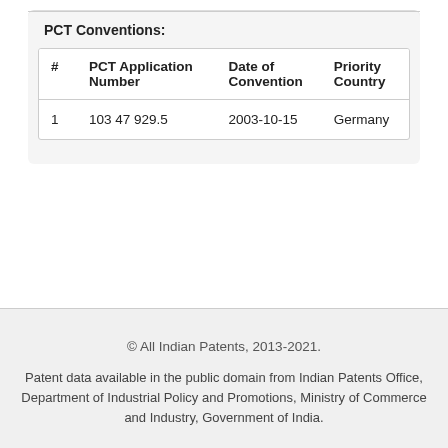PCT Conventions:
| # | PCT Application Number | Date of Convention | Priority Country |
| --- | --- | --- | --- |
| 1 | 103 47 929.5 | 2003-10-15 | Germany |
© All Indian Patents, 2013-2021.
Patent data available in the public domain from Indian Patents Office, Department of Industrial Policy and Promotions, Ministry of Commerce and Industry, Government of India.